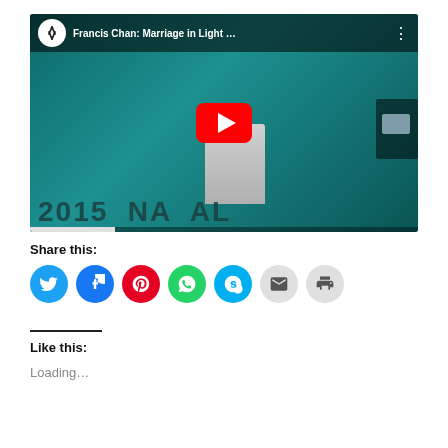[Figure (screenshot): YouTube video thumbnail showing Francis Chan: Marriage in Light ... with a man and woman on a conference stage with teal backdrop, and a YouTube play button overlay. Video title shown in top bar.]
Share this:
[Figure (infographic): Row of social share icon buttons: Twitter (blue bird), Facebook (blue f), Pinterest (red P), WhatsApp (green phone), Skype (blue S), Email (grey envelope), Print (grey printer)]
Like this:
Loading...